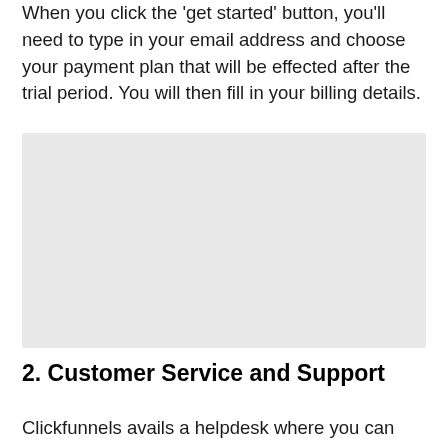When you click the 'get started' button, you'll need to type in your email address and choose your payment plan that will be effected after the trial period. You will then fill in your billing details.
[Figure (screenshot): Light gray placeholder image block]
2. Customer Service and Support
Clickfunnels avails a helpdesk where you can type what you'd information you're searching for and it